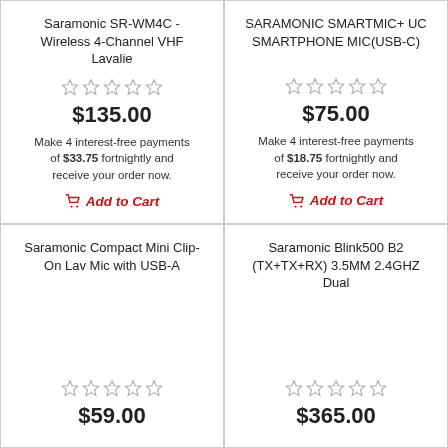Saramonic SR-WM4C - Wireless 4-Channel VHF Lavalie
$135.00
Make 4 interest-free payments of $33.75 fortnightly and receive your order now.
Add to Cart
SARAMONIC SMARTMIC+ UC SMARTPHONE MIC(USB-C)
$75.00
Make 4 interest-free payments of $18.75 fortnightly and receive your order now.
Add to Cart
Saramonic Compact Mini Clip-On Lav Mic with USB-A
$59.00
Saramonic Blink500 B2 (TX+TX+RX) 3.5MM 2.4GHZ Dual
$365.00